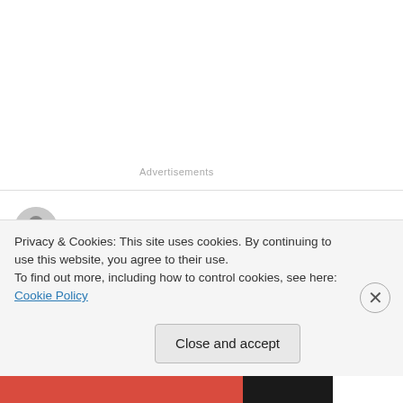Advertisements
Alison Bessesdotter on February 4, 2022 at 2:02 pm
Hi Karen- I am an artist creating work that pertains to violence against women. In the search for information, I came across your blog and other articles. I am hoping it will be alright to use the data or numbers from your blog in a
Privacy & Cookies: This site uses cookies. By continuing to use this website, you agree to their use.
To find out more, including how to control cookies, see here: Cookie Policy
Close and accept